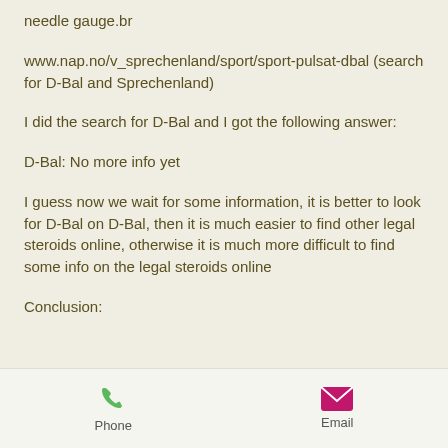needle gauge.br
www.nap.no/v_sprechenland/sport/sport-pulsat-dbal (search for D-Bal and Sprechenland)
I did the search for D-Bal and I got the following answer:
D-Bal: No more info yet
I guess now we wait for some information, it is better to look for D-Bal on D-Bal, then it is much easier to find other legal steroids online, otherwise it is much more difficult to find some info on the legal steroids online
Conclusion:
Phone  Email